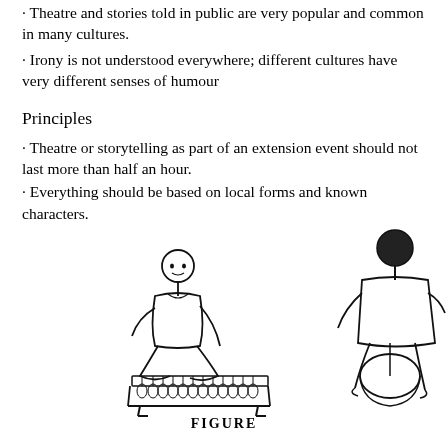· Theatre and stories told in public are very popular and common in many cultures.
· Irony is not understood everywhere; different cultures have very different senses of humour
Principles
· Theatre or storytelling as part of an extension event should not last more than half an hour.
· Everything should be based on local forms and known characters.
[Figure (illustration): Line drawing of a person sitting cross-legged playing a xylophone/marimba instrument, and another person sitting on a stool viewed from behind.]
FIGURE